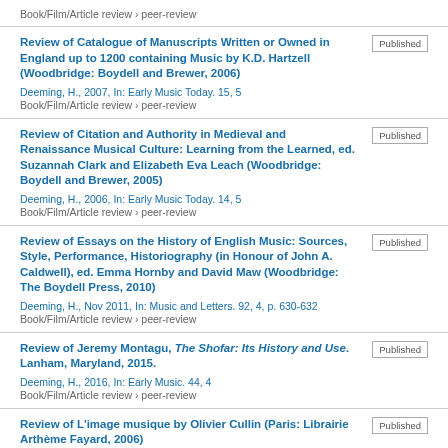Book/Film/Article review › peer-review
Review of Catalogue of Manuscripts Written or Owned in England up to 1200 containing Music by K.D. Hartzell (Woodbridge: Boydell and Brewer, 2006) | Published | Deeming, H., 2007, In: Early Music Today. 15, 5 | Book/Film/Article review › peer-review
Review of Citation and Authority in Medieval and Renaissance Musical Culture: Learning from the Learned, ed. Suzannah Clark and Elizabeth Eva Leach (Woodbridge: Boydell and Brewer, 2005) | Published | Deeming, H., 2006, In: Early Music Today. 14, 5 | Book/Film/Article review › peer-review
Review of Essays on the History of English Music: Sources, Style, Performance, Historiography (in Honour of John A. Caldwell), ed. Emma Hornby and David Maw (Woodbridge: The Boydell Press, 2010) | Published | Deeming, H., Nov 2011, In: Music and Letters. 92, 4, p. 630-632 | Book/Film/Article review › peer-review
Review of Jeremy Montagu, The Shofar: Its History and Use. Lanham, Maryland, 2015. | Published | Deeming, H., 2016, In: Early Music. 44, 4 | Book/Film/Article review › peer-review
Review of L'image musique by Olivier Cullin (Paris: Librairie Arthème Fayard, 2006) | Published